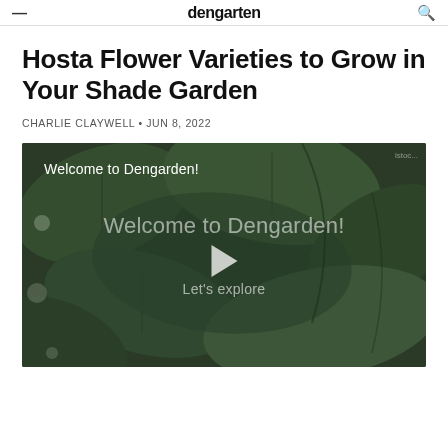dengarden
Hosta Flower Varieties to Grow in Your Shade Garden
CHARLIE CLAYWELL • JUN 8, 2022
[Figure (screenshot): Video thumbnail with dark green leaf background. Text reads 'Welcome to Dengarden!' at top left, and center overlay shows 'Welcome to Dengarden!' with a play button triangle and 'Let's explore' beneath it.]